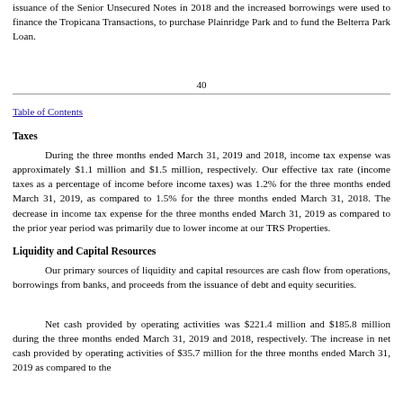issuance of the Senior Unsecured Notes in 2018 and the increased borrowings were used to finance the Tropicana Transactions, to purchase Plainridge Park and to fund the Belterra Park Loan.
40
Table of Contents
Taxes
During the three months ended March 31, 2019 and 2018, income tax expense was approximately $1.1 million and $1.5 million, respectively. Our effective tax rate (income taxes as a percentage of income before income taxes) was 1.2% for the three months ended March 31, 2019, as compared to 1.5% for the three months ended March 31, 2018. The decrease in income tax expense for the three months ended March 31, 2019 as compared to the prior year period was primarily due to lower income at our TRS Properties.
Liquidity and Capital Resources
Our primary sources of liquidity and capital resources are cash flow from operations, borrowings from banks, and proceeds from the issuance of debt and equity securities.
Net cash provided by operating activities was $221.4 million and $185.8 million during the three months ended March 31, 2019 and 2018, respectively. The increase in net cash provided by operating activities of $35.7 million for the three months ended March 31, 2019 as compared to the